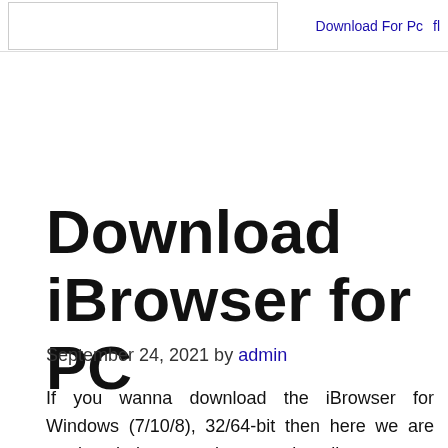Download For Pc
Download iBrowser for PC
September 24, 2021 by admin
If you wanna download the iBrowser for Windows (7/10/8), 32/64-bit then here we are ready to help you and we mention all